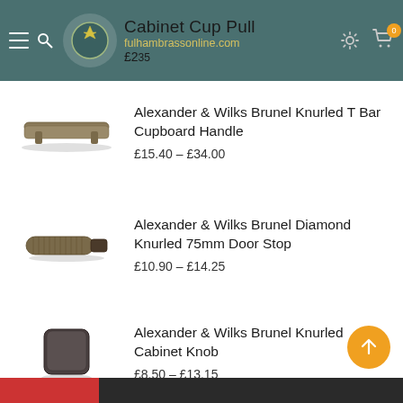Cabinet Cup Pull · fulhambrassonline.com · £2.35
Alexander & Wilks Brunel Knurled T Bar Cupboard Handle
£15.40 – £34.00
Alexander & Wilks Brunel Diamond Knurled 75mm Door Stop
£10.90 – £14.25
Alexander & Wilks Brunel Knurled Cabinet Knob
£8.50 – £13.15